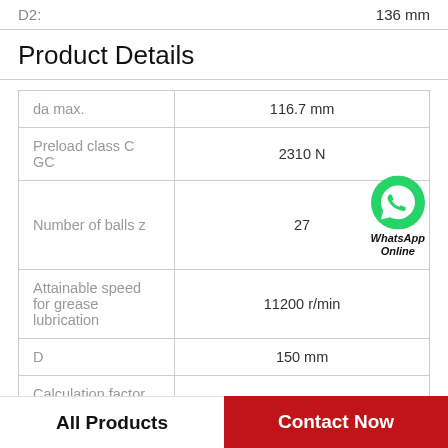D2: 136 mm
Product Details
| Property | Value |
| --- | --- |
| da max. | 116.7 mm |
| Preload class C GC | 2310 N |
| Number of balls z | 27 |
| Attainable speed for grease lubrication | 11200 r/min |
| D | 150 mm |
| Calculation factor f2A | 1 |
[Figure (logo): WhatsApp Online badge with green WhatsApp icon and text 'WhatsApp Online']
All Products
Contact Now